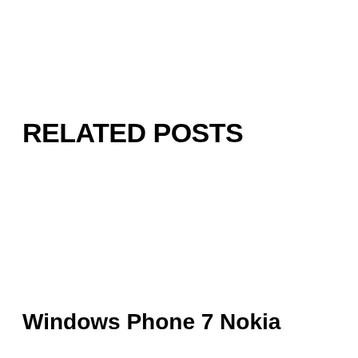RELATED POSTS
Windows Phone 7 Nokia